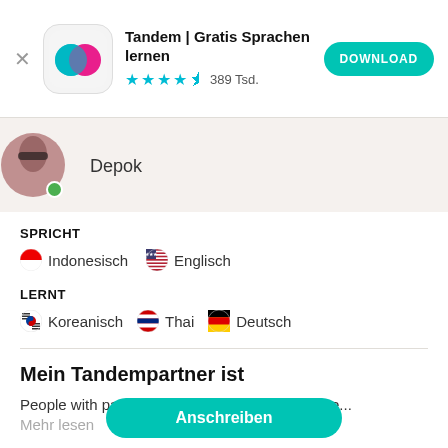[Figure (logo): Tandem app icon with teal and pink overlapping speech bubbles on white rounded square background]
Tandem | Gratis Sprachen lernen
★★★★½ 389Tsd.
DOWNLOAD
[Figure (photo): User profile photo cropped circle with green online indicator dot]
Depok
SPRICHT
🇮🇩 Indonesisch  🇺🇸 Englisch
LERNT
🇰🇷 Koreanisch  🇹🇭 Thai  🇩🇪 Deutsch
Mein Tandempartner ist
People with passion for learning many language...
Mehr lesen
Anschreiben